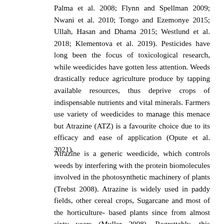Palma et al. 2008; Flynn and Spellman 2009; Nwani et al. 2010; Tongo and Ezemonye 2015; Ullah, Hasan and Dhama 2015; Westlund et al. 2018; Klementova et al. 2019). Pesticides have long been the focus of toxicological research, while weedicides have gotten less attention. Weeds drastically reduce agriculture produce by tapping available resources, thus deprive crops of indispensable nutrients and vital minerals. Farmers use variety of weedicides to manage this menace but Atrazine (ATZ) is a favourite choice due to its efficacy and ease of application (Opute et al. 2021).
Atrazine is a generic weedicide, which controls weeds by interfering with the protein biomolecules involved in the photosynthetic machinery of plants (Trebst 2008). Atrazine is widely used in paddy fields, other cereal crops, Sugarcane and most of the horticulture-based plants since from almost sixty years (Muller 2008). Regrettably, this weedicide is always used in excess quantity leads to the advent of weedicide tolerant species. Efficacy of the atrazine increases if